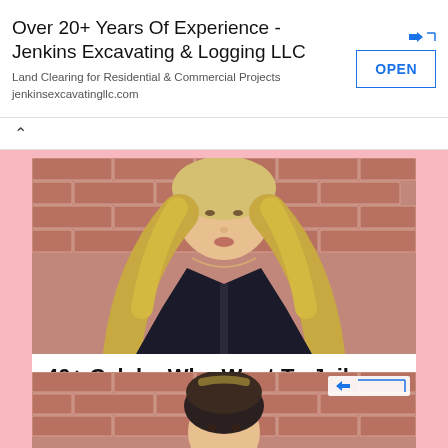[Figure (infographic): Advertisement banner for Jenkins Excavating & Logging LLC with OPEN button]
Over 20+ Years Of Experience - Jenkins Excavating & Logging LLC
Land Clearing for Residential & Commercial Projects
jenkinsexcavatingllc.com
[Figure (photo): Blonde woman in black outfit against brick wall background]
40+ Celebs Who Went To Jail
[Figure (photo): Second photo of blonde woman against brick wall, partially visible, with ad badge]